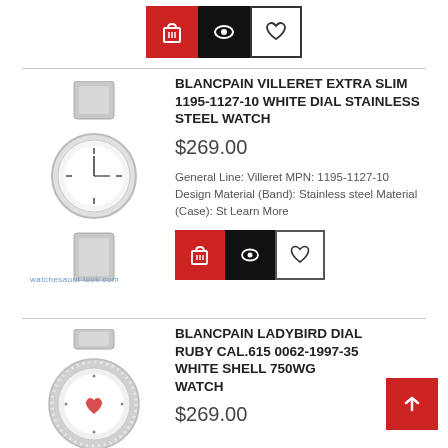[Figure (screenshot): Row of three icon buttons: red shopping cart, black eye/preview, white heart/wishlist]
[Figure (photo): Blancpain Villeret Extra Slim stainless steel watch with white dial and bracelet]
BLANCPAIN VILLERET EXTRA SLIM 1195-1127-10 WHITE DIAL STAINLESS STEEL WATCH
$269.00
General Line: Villeret MPN: 1195-1127-10 Design Material (Band): Stainless steel Material (Case): St Learn More
[Figure (screenshot): Row of three icon buttons: red shopping cart, black eye/preview, white heart/wishlist]
[Figure (photo): Blancpain Ladybird watch with ruby dial and diamond bezel]
BLANCPAIN LADYBIRD DIAL RUBY CAL.615 0062-1997-35 WHITE SHELL 750WG WATCH
$269.00